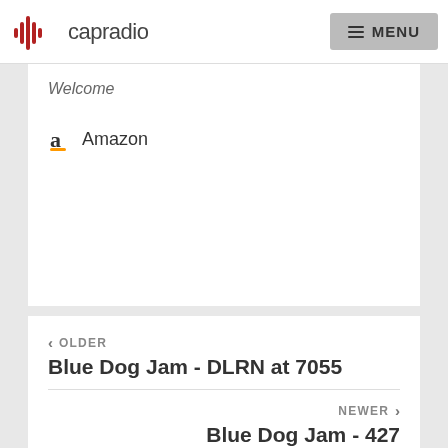capradio  MENU
Welcome
Amazon
< OLDER
Blue Dog Jam - DLRN at 7055
NEWER >
Blue Dog Jam - 427
SHOW ARCHIVE